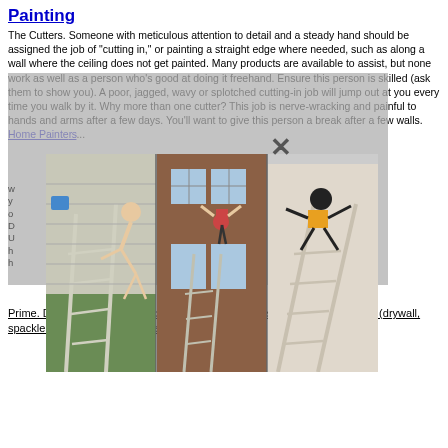Painting
The Cutters. Someone with meticulous attention to detail and a steady hand should be assigned the job of "cutting in," or painting a straight edge where needed, such as along a wall where the ceiling does not get painted. Many products are available to assist, but none work as well as a person who's good at doing it freehand. Ensure this person is skilled (ask them to show you). A poor, jagged, wavy or splotched cutting-in job will jump out at you every time you walk by it. Why more than one cutter? This job is nerve-wracking and painful to hands and arms after a few days. You'll want to give this person a break after a few walls. Home Painters...
[Figure (photo): Three photos side by side showing people falling off ladders while painting or working on houses. Left photo: person falling off a ladder against a white siding house. Middle photo: person hanging from a window on a brick house with a ladder below. Right photo: person falling off a ladder indoors. A gray semi-transparent overlay dialog box with an X close button overlays the text area.]
may vary based on your siding materials.
Prime. Dark colors, stains (once sealed), and previously unpainted surfaces (drywall, spackle, etc.) will need a primer coat...